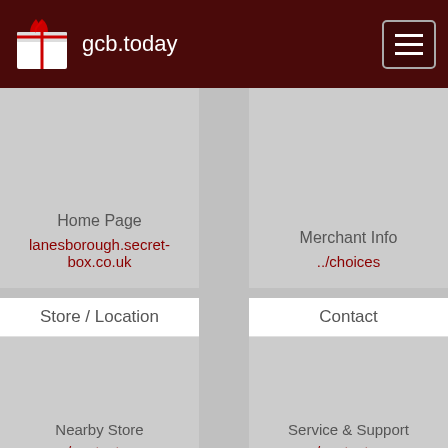gcb.today
[Figure (screenshot): Website navigation page for gcb.today showing a 2-column grid of merchant links: Home Page (lanesborough.secret-box.co.uk), Merchant Info (../choices), Store/Location with Nearby Store (../contact-us), Contact with Service & Support (../contact-us), Terms, Login]
Home Page lanesborough.secret-box.co.uk
Merchant Info ../choices
Store / Location
Contact
Nearby Store ../contact-us
Service & Support ../contact-us
Terms
Login